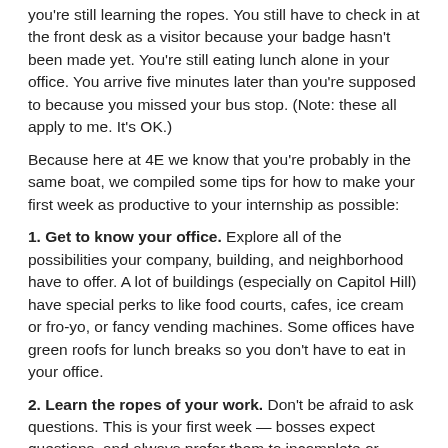you're still learning the ropes. You still have to check in at the front desk as a visitor because your badge hasn't been made yet. You're still eating lunch alone in your office. You arrive five minutes later than you're supposed to because you missed your bus stop. (Note: these all apply to me. It's OK.)
Because here at 4E we know that you're probably in the same boat, we compiled some tips for how to make your first week as productive to your internship as possible:
1. Get to know your office. Explore all of the possibilities your company, building, and neighborhood have to offer. A lot of buildings (especially on Capitol Hill) have special perks to like food courts, cafes, ice cream or fro-yo, or fancy vending machines. Some offices have green roofs for lunch breaks so you don't have to eat in your office.
2. Learn the ropes of your work. Don't be afraid to ask questions. This is your first week — bosses expect questions, and always prefer them to incomplete or shoddy work. Now is the time to figure out how best to finish assignments so that you can do them consistently correctly for the rest of your internship.
3. Meet your coworkers, even the ones you won't end up working with consistently. Don't be afraid to introduce yourself to everyone. Basically, you'll want to be the intern that everyone knows the name of.